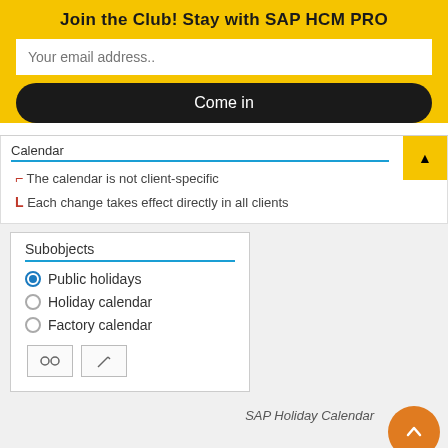Join the Club! Stay with SAP HCM PRO
Your email address..
Come in
Calendar
The calendar is not client-specific
Each change takes effect directly in all clients
Subobjects
Public holidays
Holiday calendar
Factory calendar
SAP Holiday Calendar
The sequence is simple. At first, we creat holiday list, where each item is a holiday or